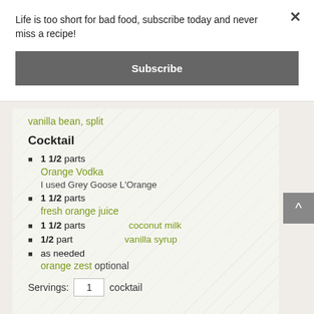Life is too short for bad food, subscribe today and never miss a recipe!
Subscribe
vanilla bean, split
Cocktail
1 1/2 parts Orange Vodka I used Grey Goose L'Orange
1 1/2 parts fresh orange juice
1 1/2 parts coconut milk
1/2 part vanilla syrup
as needed orange zest optional
Servings: 1 cocktail